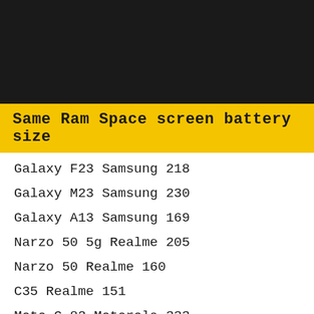[Figure (other): Black header image area at the top of the page]
Same Ram Space screen battery size
Galaxy F23 Samsung 218
Galaxy M23 Samsung 230
Galaxy A13 Samsung 169
Narzo 50 5g Realme 205
Narzo 50 Realme 160
C35 Realme 151
Moto G 82 Motorola 333
Moto G 52 Motorola 186
Poco M4 Pro 5g Xiaomi 240